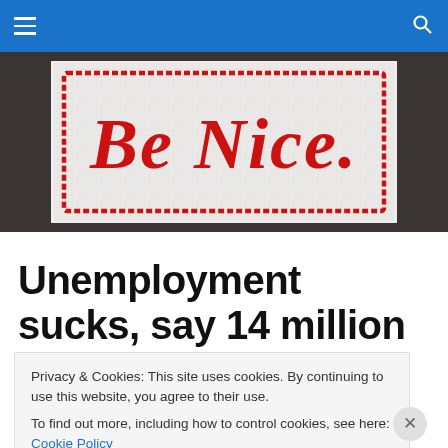Navigation bar with menu and search icons
[Figure (photo): Cross-stitch embroidery on white fabric reading 'Be Nice.' in red script lettering with a red border, set against a dark background.]
Unemployment sucks, say 14 million people
Privacy & Cookies: This site uses cookies. By continuing to use this website, you agree to their use.
To find out more, including how to control cookies, see here: Cookie Policy
Close and accept